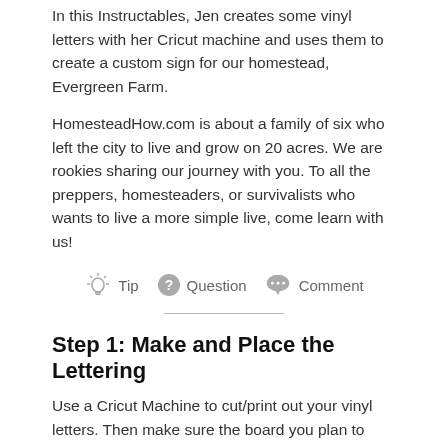In this Instructables, Jen creates some vinyl letters with her Cricut machine and uses them to create a custom sign for our homestead, Evergreen Farm.
HomesteadHow.com is about a family of six who left the city to live and grow on 20 acres. We are rookies sharing our journey with you. To all the preppers, homesteaders, or survivalists who wants to live a more simple live, come learn with us!
[Figure (infographic): Tip, Question, Comment icons row with lightbulb, question mark, and speech bubble icons]
Step 1: Make and Place the Lettering
Use a Cricut Machine to cut/print out your vinyl letters. Then make sure the board you plan to place the letters on is very clean and dry, otherwise the